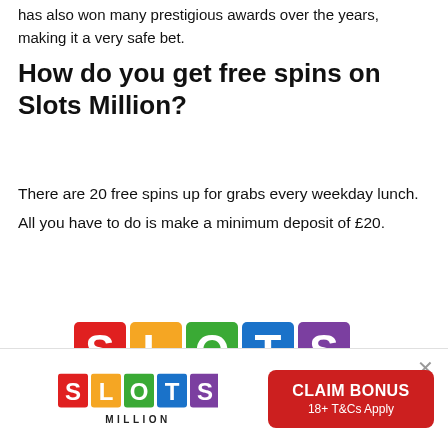has also won many prestigious awards over the years, making it a very safe bet.
How do you get free spins on Slots Million?
There are 20 free spins up for grabs every weekday lunch. All you have to do is make a minimum deposit of £20.
[Figure (logo): Slots Million logo — large colorful letters S L O T S in colored squares (red, orange, green, blue, purple) with white text]
[Figure (logo): Slots Million logo — small version with MILLION text below and colored letter squares]
CLAIM BONUS 18+ T&Cs Apply